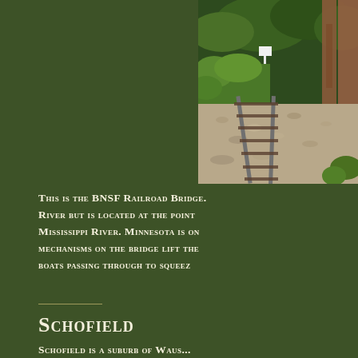[Figure (photo): Railroad tracks with gravel ballast curving into the distance, with green vegetation and trees visible alongside, and a partial view of a metal bridge structure on the right. A small white sign is visible near the tracks.]
This is the BNSF Railroad Bridge. River but is located at the point Mississippi River. Minnesota is on mechanisms on the bridge lift the boats passing through to squeeze
Schofield
Schofield is a suburb of Waus...